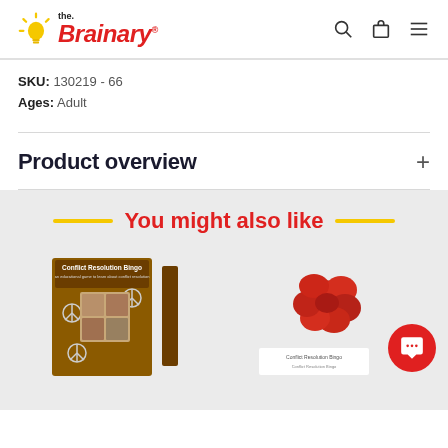the Brainary
SKU: 130219 - 66
Ages: Adult
Product overview
You might also like
[Figure (photo): Conflict Resolution Bingo game box with peace signs and group activity images]
[Figure (photo): Red fuzzy or flower-shaped object with Conflict Resolution Bingo label below]